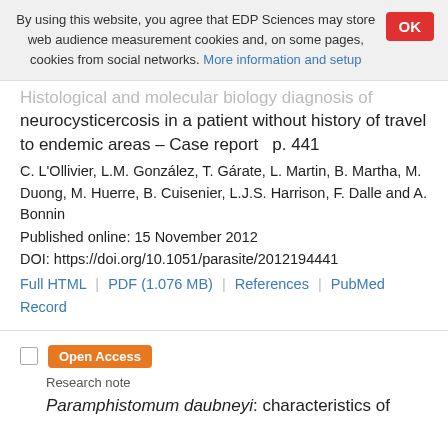By using this website, you agree that EDP Sciences may store web audience measurement cookies and, on some pages, cookies from social networks. More information and setup
OK
Histological and molecular biology diagnosis of neurocysticercosis in a patient without history of travel to endemic areas – Case report   p. 441
C. L'Ollivier, L.M. González, T. Gárate, L. Martin, B. Martha, M. Duong, M. Huerre, B. Cuisenier, L.J.S. Harrison, F. Dalle and A. Bonnin
Published online: 15 November 2012
DOI: https://doi.org/10.1051/parasite/2012194441
Full HTML | PDF (1.076 MB) | References | PubMed Record
Open Access
Research note
Paramphistomum daubneyi: characteristics of